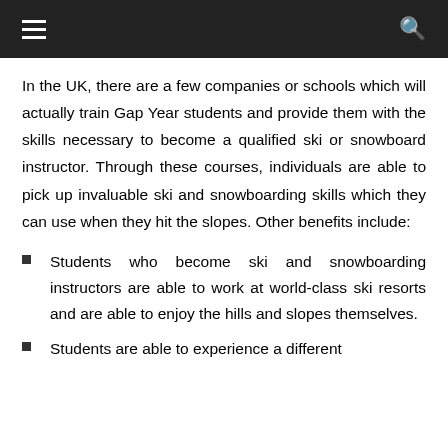Navigation menu and search bar
In the UK, there are a few companies or schools which will actually train Gap Year students and provide them with the skills necessary to become a qualified ski or snowboard instructor. Through these courses, individuals are able to pick up invaluable ski and snowboarding skills which they can use when they hit the slopes. Other benefits include:
Students who become ski and snowboarding instructors are able to work at world-class ski resorts and are able to enjoy the hills and slopes themselves.
Students are able to experience a different